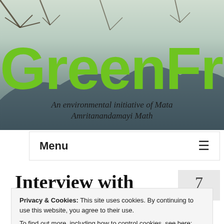[Figure (photo): GreenFriends website header banner showing trees and mountains with the site title 'GreenFrie...' in large green text and subtitle 'An environmental initiative of Mata Amritanandamayi Math']
Menu ≡
Interview with
7
NOV 2020
Privacy & Cookies: This site uses cookies. By continuing to use this website, you agree to their use.
To find out more, including how to control cookies, see here: Cookie Policy
Close and accept
Posted by the Environmental Review of Green...